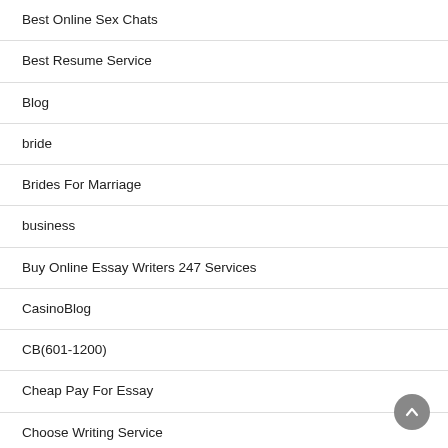Best Online Sex Chats
Best Resume Service
Blog
bride
Brides For Marriage
business
Buy Online Essay Writers 247 Services
CasinoBlog
CB(601-1200)
Cheap Pay For Essay
Choose Writing Service
College Essay Writers For Pay
College Essays For Sale